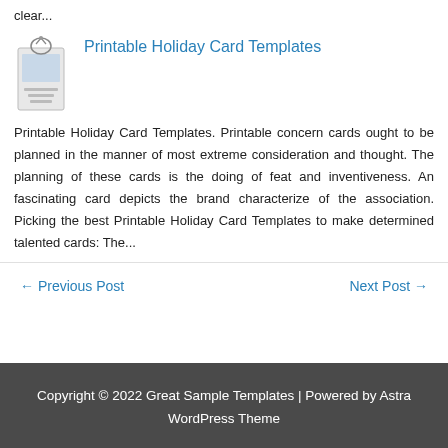clear...
Printable Holiday Card Templates
[Figure (illustration): Thumbnail image of printable holiday card templates, showing decorative card with ribbon/tag]
Printable Holiday Card Templates. Printable concern cards ought to be planned in the manner of most extreme consideration and thought. The planning of these cards is the doing of feat and inventiveness. An fascinating card depicts the brand characterize of the association. Picking the best Printable Holiday Card Templates to make determined talented cards: The...
← Previous Post
Next Post →
Copyright © 2022 Great Sample Templates | Powered by Astra WordPress Theme